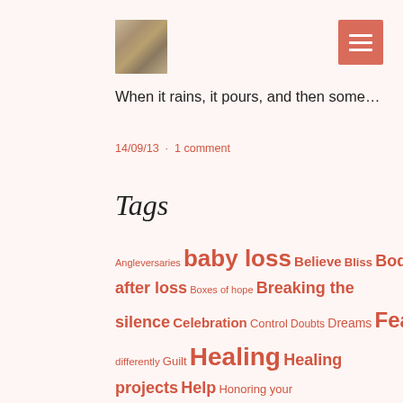[Figure (photo): Small thumbnail photo of a dandelion or nature scene in muted brown/tan tones]
When it rains, it pours, and then some…
14/09/13 · 1 comment
Tags
Angleversaries baby loss Believe Bliss Body after loss Boxes of hope Breaking the silence Celebration Control Doubts Dreams Fear Future Grief Grieving differently Guilt Healing Healing projects Help Honoring your baby Hope Lessons learned Letters to Sober Life after